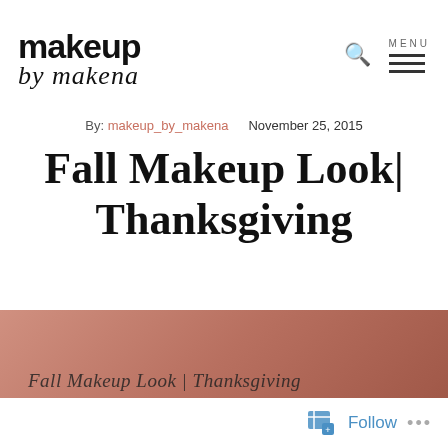makeup by makena
By: makeup_by_makena   November 25, 2015
Fall Makeup Look| Thanksgiving
[Figure (photo): Photo showing skin texture with cursive text overlay reading 'Fall Makeup Look | Thanksgiving']
Follow